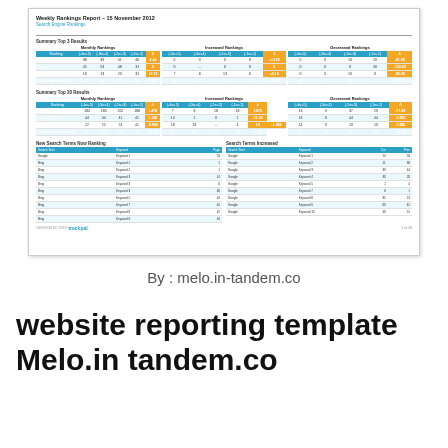[Figure (screenshot): Weekly Rankings Report document preview showing summary tables for Top 3 and Top 20 results with Monthly Rankings, Increased Rankings, and Decreased Rankings columns, plus New Search Terms and Search Terms Increased sections. Branded with trackpal logo at bottom.]
By : melo.in-tandem.co
website reporting template Melo.in tandem.co